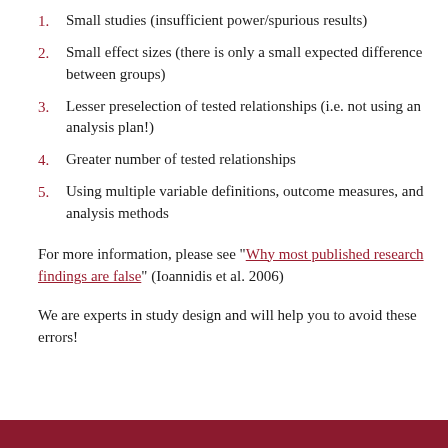1. Small studies (insufficient power/spurious results)
2. Small effect sizes (there is only a small expected difference between groups)
3. Lesser preselection of tested relationships (i.e. not using an analysis plan!)
4. Greater number of tested relationships
5. Using multiple variable definitions, outcome measures, and analysis methods
For more information, please see "Why most published research findings are false" (Ioannidis et al. 2006)
We are experts in study design and will help you to avoid these errors!